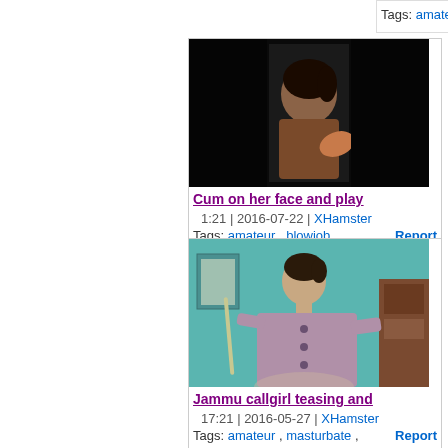Tags: amateur , flashing ,    Report
[Figure (photo): Dark/low-light video thumbnail showing a woman]
Cum on her face and play
1:21 | 2016-07-22 | XHamster
Tags: amateur , blowjob ,    Report
[Figure (photo): Video thumbnail showing a woman in a purple cardigan in a room with teal walls]
Jammu callgirl teasing and
17:21 | 2016-05-27 | XHamster
Tags: amateur , masturbate ,    Report